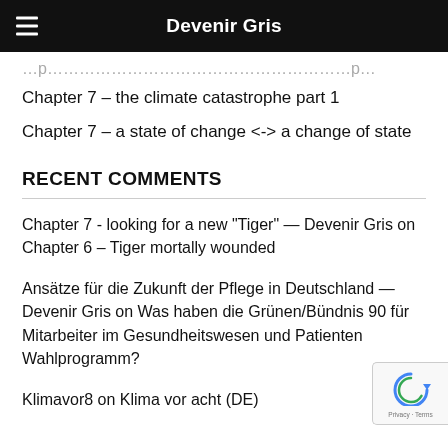Devenir Gris
Chapter 7 – the climate catastrophe part 1
Chapter 7 – a state of change <-> a change of state
RECENT COMMENTS
Chapter 7 - looking for a new "Tiger" — Devenir Gris on Chapter 6 – Tiger mortally wounded
Ansätze für die Zukunft der Pflege in Deutschland — Devenir Gris on Was haben die Grünen/Bündnis 90 für Mitarbeiter im Gesundheitswesen und Patienten Wahlprogramm?
Klimavor8 on Klima vor acht (DE)